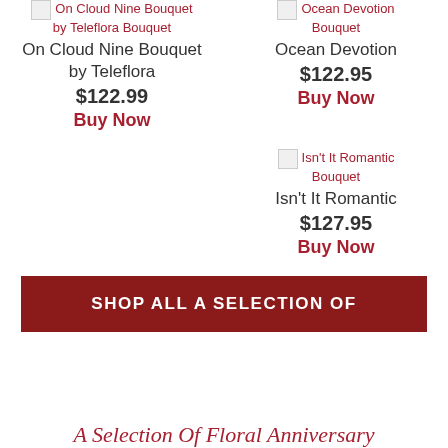[Figure (screenshot): Product listing image placeholder for On Cloud Nine Bouquet by Teleflora]
On Cloud Nine Bouquet by Teleflora Bouquet
On Cloud Nine Bouquet by Teleflora
$122.99
Buy Now
[Figure (screenshot): Product listing image placeholder for Ocean Devotion Bouquet]
Ocean Devotion Bouquet
Ocean Devotion
$122.95
Buy Now
[Figure (screenshot): Product listing image placeholder for Isn't It Romantic Bouquet]
Isn't It Romantic Bouquet
Isn't It Romantic
$127.95
Buy Now
SHOP ALL A SELECTION OF
A Selection Of Floral Anniversary